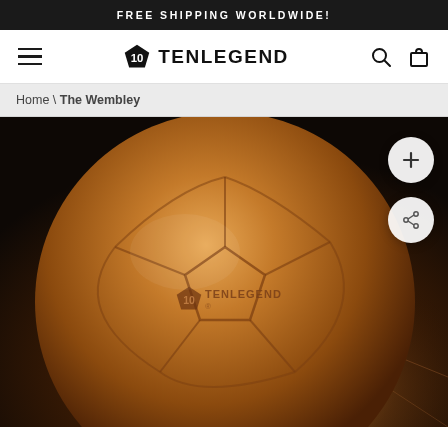FREE SHIPPING WORLDWIDE!
[Figure (screenshot): TenLegend website header with hamburger menu, logo (pentagon with 10 icon and TENLEGEND text), search icon, and cart icon]
Home \ The Wembley
[Figure (photo): Close-up photo of a retro brown leather football with TENLEGEND branding on a dark wooden floor background. Two circular overlay buttons visible on right: a plus/add button and a share button.]